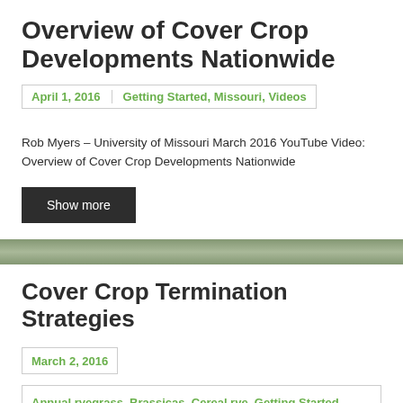Overview of Cover Crop Developments Nationwide
April 1, 2016 | Getting Started, Missouri, Videos
Rob Myers – University of Missouri March 2016 YouTube Video: Overview of Cover Crop Developments Nationwide
Show more
Cover Crop Termination Strategies
March 2, 2016
Annual ryegrass, Brassicas, Cereal rye, Getting Started, Hairy vetch, Michigan, Oilseed radish, Rapeseed, Termination, Videos
Mike Plummer- Conservation Ag Consultant March 2016 MSUE Field